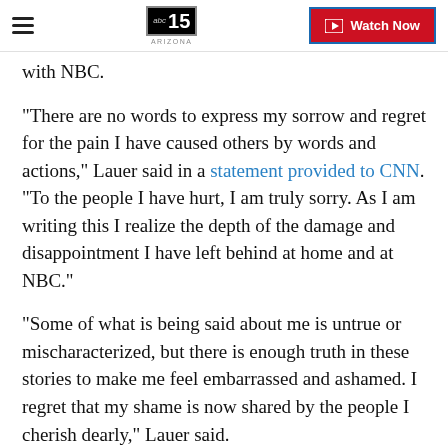abc15 ARIZONA — Watch Now
with NBC.
"There are no words to express my sorrow and regret for the pain I have caused others by words and actions," Lauer said in a statement provided to CNN. "To the people I have hurt, I am truly sorry. As I am writing this I realize the depth of the damage and disappointment I have left behind at home and at NBC."
"Some of what is being said about me is untrue or mischaracterized, but there is enough truth in these stories to make me feel embarrassed and ashamed. I regret that my shame is now shared by the people I cherish dearly," Lauer said.